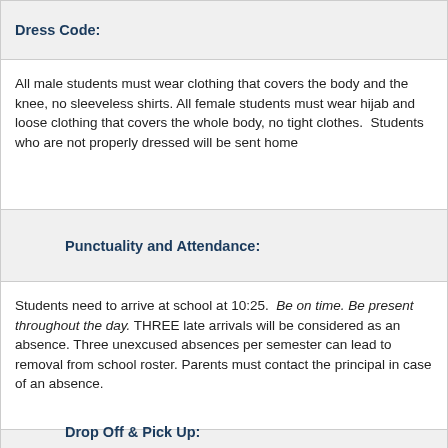Dress Code:
All male students must wear clothing that covers the body and the knee, no sleeveless shirts. All female students must wear hijab and loose clothing that covers the whole body, no tight clothes. Students who are not properly dressed will be sent home
Punctuality and Attendance:
Students need to arrive at school at 10:25. Be on time. Be present throughout the day. THREE late arrivals will be considered as an absence. Three unexcused absences per semester can lead to removal from school roster. Parents must contact the principal in case of an absence.
Drop Off & Pick Up: